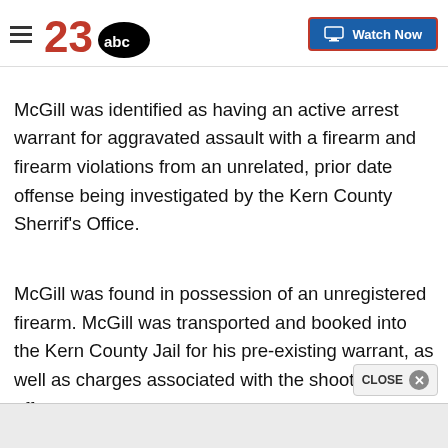23abc — Watch Now
McGill was identified as having an active arrest warrant for aggravated assault with a firearm and firearm violations from an unrelated, prior date offense being investigated by the Kern County Sherrif's Office.
McGill was found in possession of an unregistered firearm. McGill was transported and booked into the Kern County Jail for his pre-existing warrant, as well as charges associated with the shooting offense.
The initial investigation showed that the shooting o…